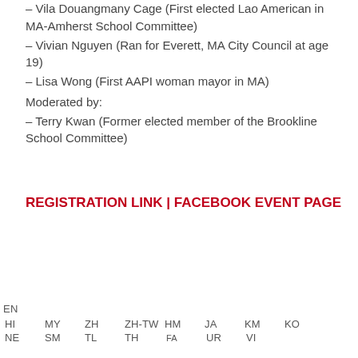– Vila Douangmany Cage (First elected Lao American in MA-Amherst School Committee)
– Vivian Nguyen (Ran for Everett, MA City Council at age 19)
– Lisa Wong (First AAPI woman mayor in MA)
Moderated by:
– Terry Kwan (Former elected member of the Brookline School Committee)
REGISTRATION LINK | FACEBOOK EVENT PAGE
EN  HI  MY  ZH  ZH-TW  HM  JA  KM  KO  NE  SM  TL  TH  FA  UR  VI